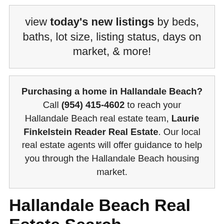view today's new listings by beds, baths, lot size, listing status, days on market, & more!
Purchasing a home in Hallandale Beach? Call (954) 415-4602 to reach your Hallandale Beach real estate team, Laurie Finkelstein Reader Real Estate. Our local real estate agents will offer guidance to help you through the Hallandale Beach housing market.
Hallandale Beach Real Estate Search
This page is updated with Hallandale Beach home listings